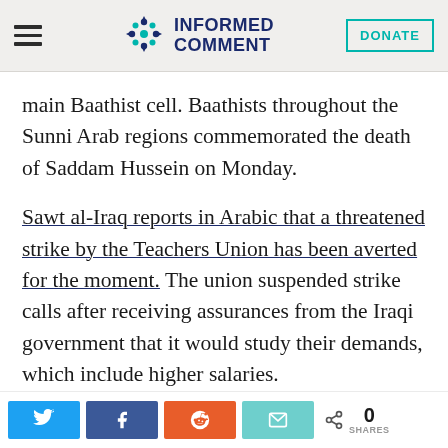INFORMED COMMENT
main Baathist cell. Baathists throughout the Sunni Arab regions commemorated the death of Saddam Hussein on Monday.
Sawt al-Iraq reports in Arabic that a threatened strike by the Teachers Union has been averted for the moment. The union suspended strike calls after receiving assurances from the Iraqi government that it would study their demands, which include higher salaries.
0 SHARES